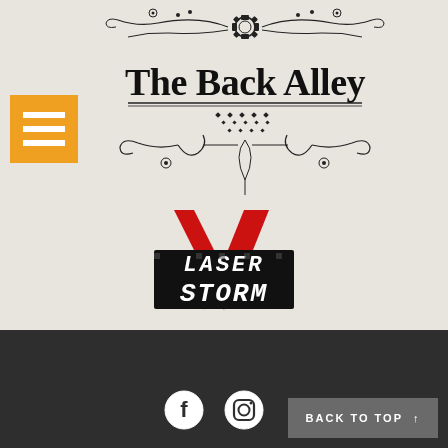[Figure (logo): The Back Alley decorative logo with ornamental scrollwork and gear design, serif text reading 'The Back Alley']
[Figure (logo): Laser Storm logo with red lightning bolt / arrow shapes and bold block text reading 'LASER STORM']
[Figure (logo): Orange hamburger menu button with three white horizontal lines]
[Figure (illustration): Footer with Facebook and Instagram social media icons and a 'BACK TO TOP' button with upward arrow]
BACK TO TOP ↑